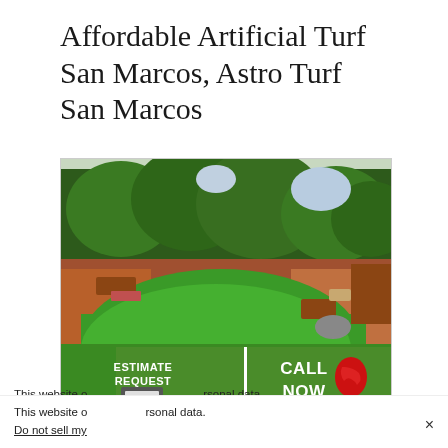Affordable Artificial Turf San Marcos, Astro Turf San Marcos
[Figure (photo): Backyard with lush green artificial turf lawn surrounded by trees, patio furniture, and garden area with overlaid estimate request and call now buttons]
This website o[uses cookies to track] personal data. Do not sell my [personal information]